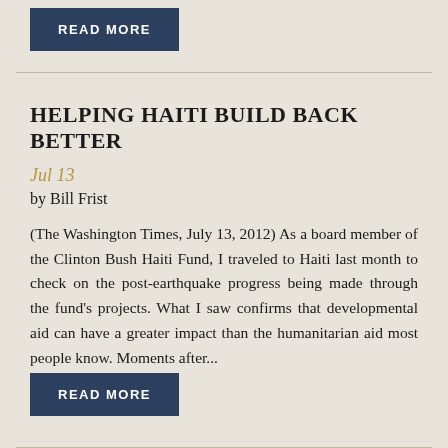READ MORE
HELPING HAITI BUILD BACK BETTER
Jul 13
by Bill Frist
(The Washington Times, July 13, 2012) As a board member of the Clinton Bush Haiti Fund, I traveled to Haiti last month to check on the post-earthquake progress being made through the fund's projects. What I saw confirms that developmental aid can have a greater impact than the humanitarian aid most people know. Moments after...
READ MORE